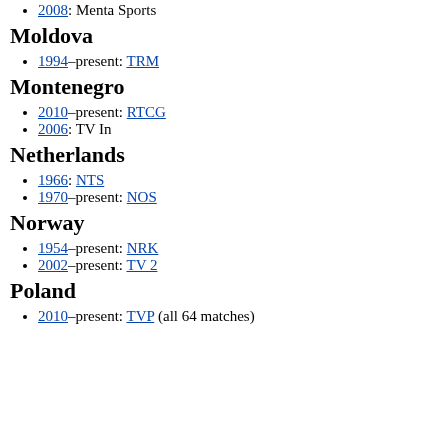2008: Menta Sports
Moldova
1994–present: TRM
Montenegro
2010–present: RTCG
2006: TV In
Netherlands
1966: NTS
1970–present: NOS
Norway
1954–present: NRK
2002–present: TV 2
Poland
2010–present: TVP (all 64 matches)